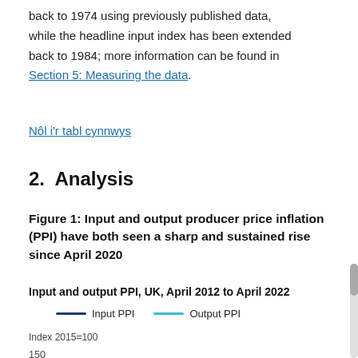back to 1974 using previously published data, while the headline input index has been extended back to 1984; more information can be found in Section 5: Measuring the data.
Nôl i'r tabl cynnwys
2.  Analysis
Figure 1: Input and output producer price inflation (PPI) have both seen a sharp and sustained rise since April 2020
Input and output PPI, UK, April 2012 to April 2022
[Figure (line-chart): Line chart showing Input PPI and Output PPI from April 2012 to April 2022, with both rising sharply since April 2020. Y-axis shows Index 2015=100, with 150 visible at bottom.]